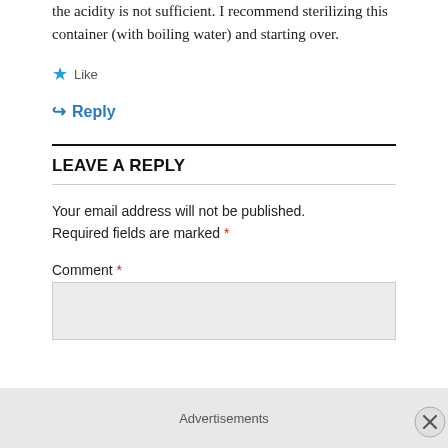the acidity is not sufficient. I recommend sterilizing this container (with boiling water) and starting over.
★ Like
↪ Reply
LEAVE A REPLY
Your email address will not be published. Required fields are marked *
Comment *
Advertisements